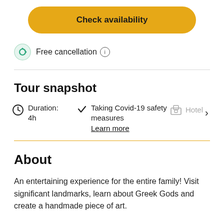Check availability
Free cancellation ⓘ
Tour snapshot
Duration: 4h
Taking Covid-19 safety measures
Learn more
Hotel
About
An entertaining experience for the entire family! Visit significant landmarks, learn about Greek Gods and create a handmade piece of art.